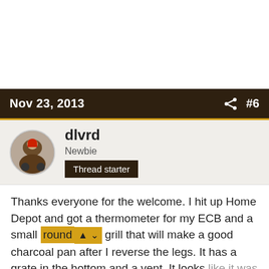Nov 23, 2013  #6
dlvrd
Newbie
Thread starter
Thanks everyone for the welcome. I hit up Home Depot and got a thermometer for my ECB and a small round grill that will make a good charcoal pan after I reverse the legs. It has a grate in the bottom and a vent. It looks like it was just made for the mod on the ECB. Our oven quit working last week so I now have the rope I need to